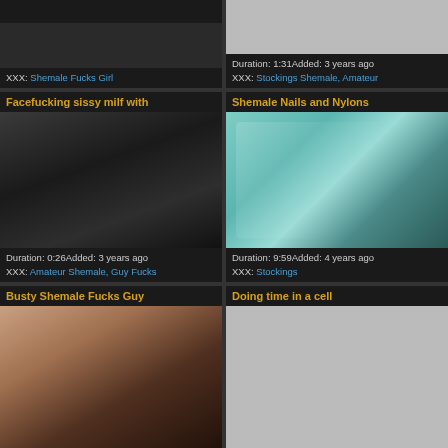XXX: Shemale Fucks Girl
Duration: 1:31Added: 3 years ago
XXX: Stockings Shemale, Amateur
Facefucking sissy milf with
Duration: 0:26Added: 3 years ago
XXX: Amateur Shemale, Guy Fucks
Shemale Nails and Nylons
Duration: 9:59Added: 4 years ago
XXX: Stockings
Busty Shemale Fucks Guy
Doing time in a cell